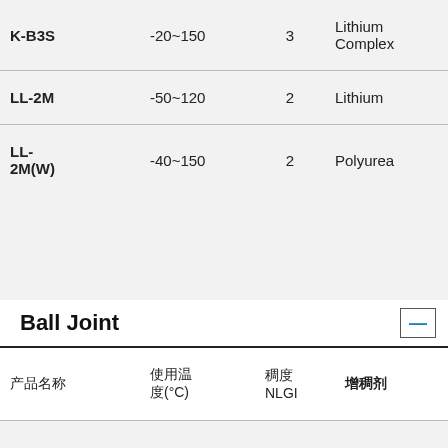| 产品名称 | 使用温度(°C) | 稠度 NLGI | 增稠剂 | 基 |
| --- | --- | --- | --- | --- |
| K-B3S | -20~150 | 3 | Lithium Complex | M |
| LL-2M | -50~120 | 2 | Lithium | Sy |
| LL-2M(W) | -40~150 | 2 | Polyurea | Sy |
Ball Joint
| 产品名称 | 使用温度(°C) | 稠度 NLGI | 增稠剂 | 基 |
| --- | --- | --- | --- | --- |